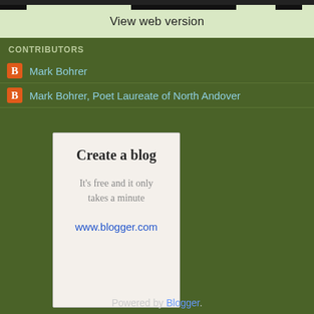View web version
CONTRIBUTORS
Mark Bohrer
Mark Bohrer, Poet Laureate of North Andover
[Figure (other): Create a blog promotional card with text: 'Create a blog', 'It's free and it only takes a minute', 'www.blogger.com']
Powered by Blogger.